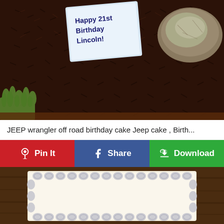[Figure (photo): Close-up photo of a chocolate birthday cake with chocolate sprinkles, a handwritten note reading 'Happy 21st Birthday Lincoln!' on white paper, and a real rock placed on top of the cake. Green grass visible at bottom left corner.]
JEEP wrangler off road birthday cake Jeep cake , Birth...
[Figure (other): Row of three social sharing buttons: red Pinterest 'Pin It' button, blue Facebook 'Share' button, and green 'Download' button with cloud/arrow icon.]
[Figure (photo): Partial view of a white rectangular cake with decorative gray/silver piped frosting border around the edges, placed on a dark wooden surface.]